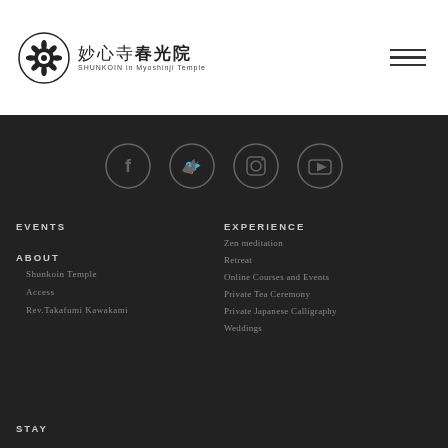[Figure (logo): Shunkoin Temple logo with circular crest and Japanese/English text: 妙心寺 春光院 SHUNKOIN in Myoshinji Temple]
[Figure (illustration): Hamburger menu icon (three horizontal lines)]
[Figure (illustration): Social media icons: Facebook, Twitter, Instagram, YouTube — circular outlined icons on dark background]
EVENTS
EXPERIENCE
ABOUT
Zen meditation
Shunkoin Temple
Retreat
Access
Online Courses and Events
Rev.Takafumi Kawakami
Private Tea Ceremony
Private Japanese Calligraphy
Weddings
STAY